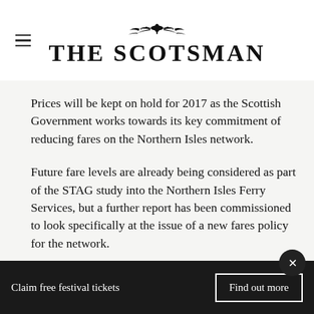THE SCOTSMAN
Prices will be kept on hold for 2017 as the Scottish Government works towards its key commitment of reducing fares on the Northern Isles network.
Future fare levels are already being considered as part of the STAG study into the Northern Isles Ferry Services, but a further report has been commissioned to look specifically at the issue of a new fares policy for the network.
Claim free festival tickets   Find out more